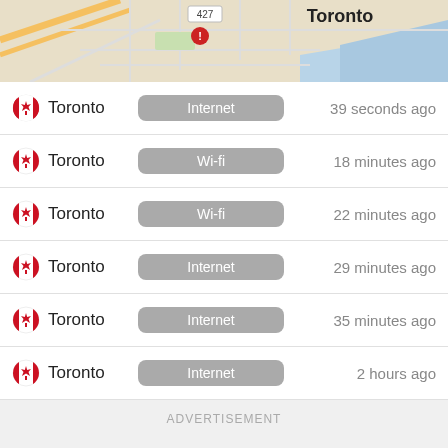[Figure (map): Street map of Toronto showing roads and waterfront, with a location pin labeled 427 and a red alert marker]
Toronto | Internet | 39 seconds ago
Toronto | Wi-fi | 18 minutes ago
Toronto | Wi-fi | 22 minutes ago
Toronto | Internet | 29 minutes ago
Toronto | Internet | 35 minutes ago
Toronto | Internet | 2 hours ago
ADVERTISEMENT